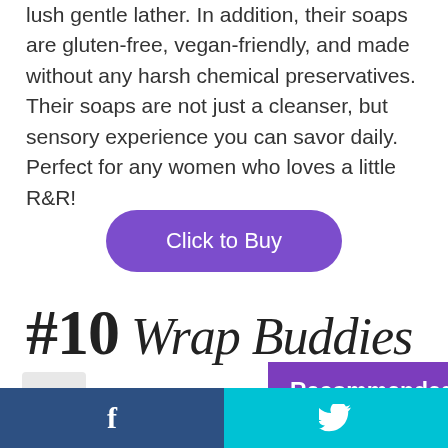lush gentle lather. In addition, their soaps are gluten-free, vegan-friendly, and made without any harsh chemical preservatives. Their soaps are not just a cleanser, but sensory experience you can savor daily. Perfect for any women who loves a little R&R!
[Figure (other): Purple rounded button labeled 'Click to Buy']
#10 Wrap Buddies
[Figure (other): Share icon button (gray square with share symbol)]
[Figure (other): Purple 'Recommended by' overlay box with scroll-up arrow button]
f (Facebook share) | Twitter bird icon (Twitter share)